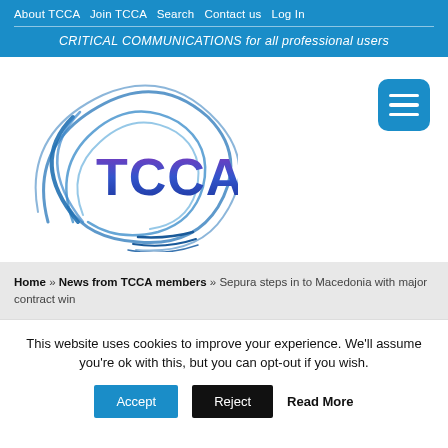About TCCA  Join TCCA  Search  Contact us  Log In
CRITICAL COMMUNICATIONS for all professional users
[Figure (logo): TCCA logo with blue swirl graphic and purple-blue TCCA text]
Home » News from TCCA members » Sepura steps in to Macedonia with major contract win
This website uses cookies to improve your experience. We'll assume you're ok with this, but you can opt-out if you wish.